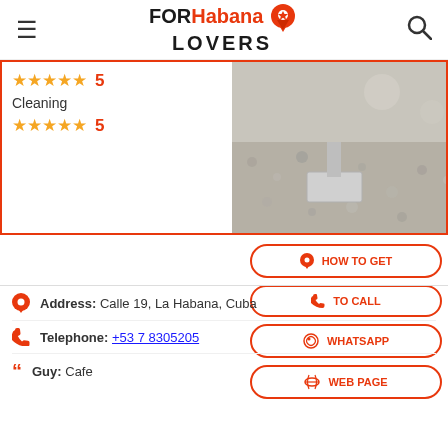FORHabana LOVERS
[Figure (photo): Outdoor gravel/pebble ground with a metal pole or object on a concrete base, Cuban cafe exterior]
★★★★★ 5
Cleaning
★★★★★ 5
HOW TO GET
TO CALL
WHATSAPP
WEB PAGE
Address: Calle 19, La Habana, Cuba
Telephone: +53 7 8305205
Guy: Cafe